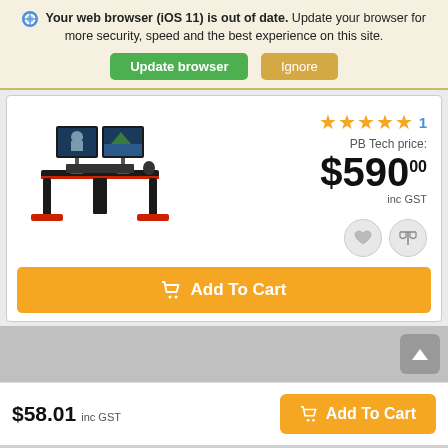Your web browser (iOS 11) is out of date. Update your browser for more security, speed and the best experience on this site.
Update browser | Ignore
[Figure (photo): Gaming desk with dual monitors and red metal frame legs]
★★★★★ 1
PB Tech price:
$590.00
inc GST
Add To Cart
$58.01 inc GST
Add To Cart